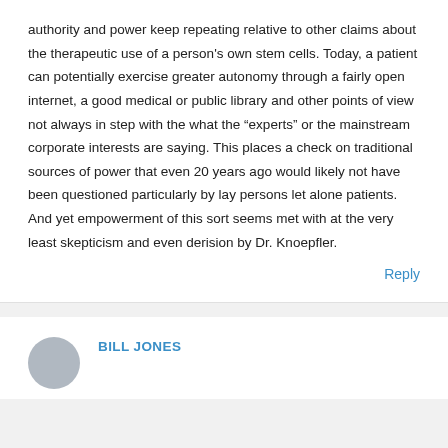authority and power keep repeating relative to other claims about the therapeutic use of a person's own stem cells. Today, a patient can potentially exercise greater autonomy through a fairly open internet, a good medical or public library and other points of view not always in step with the what the “experts” or the mainstream corporate interests are saying. This places a check on traditional sources of power that even 20 years ago would likely not have been questioned particularly by lay persons let alone patients. And yet empowerment of this sort seems met with at the very least skepticism and even derision by Dr. Knoepfler.
Reply
BILL JONES